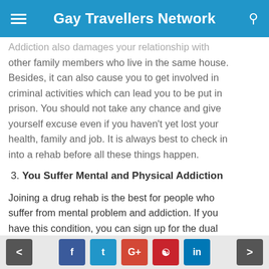Gay Travellers Network
Addiction also damages your relationship with other family members who live in the same house. Besides, it can also cause you to get involved in criminal activities which can lead you to be put in prison. You should not take any chance and give yourself excuse even if you haven't yet lost your health, family and job. It is always best to check in into a rehab before all these things happen.
3. You Suffer Mental and Physical Addiction
Joining a drug rehab is the best for people who suffer from mental problem and addiction. If you have this condition, you can sign up for the dual diagnosis program. Not treating your mental symptoms can increase your chances of relapsing
< f t G+ p in >